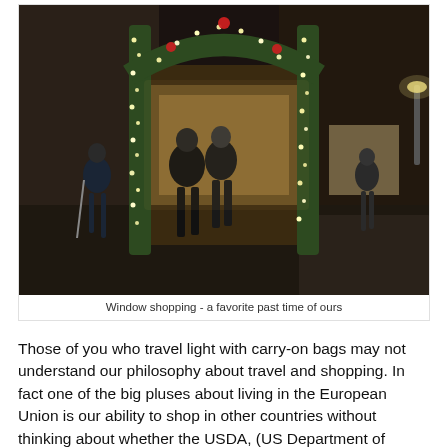[Figure (photo): Night street scene showing people window shopping in front of a store decorated with Christmas lights and greenery archway. Cobblestone street, European-style buildings.]
Window shopping - a favorite past time of ours
Those of you who travel light with carry-on bags may not understand our philosophy about travel and shopping. In fact one of the big pluses about living in the European Union is our ability to shop in other countries without thinking about whether the USDA, (US Department of Agriculture) or